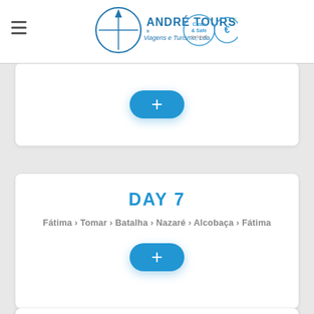André Tours - Viagens e Turismo, Lda.
Day 6 (partial) - plus button
DAY 7
Fátima › Tomar › Batalha › Nazaré › Alcobaça › Fátima
DAY 8
Fátima › Óbidos › Sintra › Lisbon